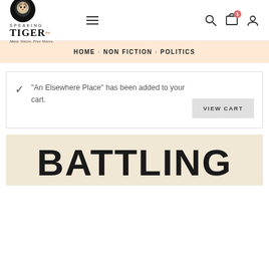Speaking Tiger — Many Voices. Free Voices.
HOME › NON FICTION › POLITICS
"An Elsewhere Place" has been added to your cart.
BATTLING